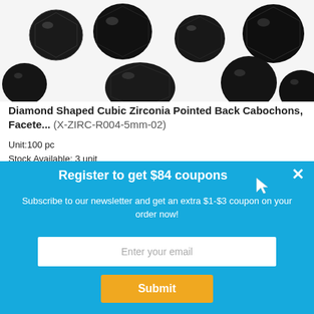[Figure (photo): Photo of black diamond-shaped cubic zirconia faceted beads/cabochons scattered on white background]
Diamond Shaped Cubic Zirconia Pointed Back Cabochons, Facete... (X-ZIRC-R004-5mm-02)
Unit:100 pc
Stock Available: 3 unit
SAVE: 40%   Regular Price: US $4.67
Sale Price: US $2.80
[Figure (screenshot): Action buttons row: quantity input box showing '1', blue cart button, pink wishlist/heart button, pink-red savings/piggy-bank button]
[Figure (photo): Banner strip showing '40% OFF' badge over gold jewelry background]
Register to get $84 coupons
Subscribe to our newsletter and get an extra $1-$3 coupon on your order now!
Enter your email
Submit